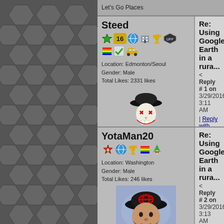Let's Go Places
Steed
Location: Edmonton/Seoul
Gender: Male
Total Likes: 2331 likes
[Figure (illustration): Skull avatar with bowler hat - Your Friendly Neighbourhood Race Traitor]
Your Friendly Neighbourhood Race Traitor
Re: Using Google Earth in a rura...
< Reply # 1 on 3/29/2016 3:11 AM
| Reply with Quote
Looks like a high risk to low reward... to find anything worth seeing.
YotaMan20
Location: Washington
Gender: Male
Total Likes: 246 likes
[Figure (photo): User avatar - person wearing Toyota cap]
Re: Using Google Earth in a rura...
< Reply # 2 on 3/29/2016 3:13 AM
| Reply with Quote
Looks like a high risk to low rew... buckshot than to find anything w...
Thanks Steed, I was just using thi...